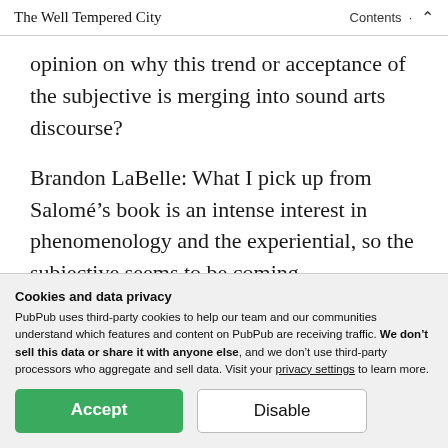The Well Tempered City   Contents
opinion on why this trend or acceptance of the subjective is merging into sound arts discourse?
Brandon LaBelle: What I pick up from Salomé’s book is an intense interest in phenomenology and the experiential, so the subjective seems to be coming
Cookies and data privacy
PubPub uses third-party cookies to help our team and our communities understand which features and content on PubPub are receiving traffic. We don't sell this data or share it with anyone else, and we don't use third-party processors who aggregate and sell data. Visit your privacy settings to learn more.